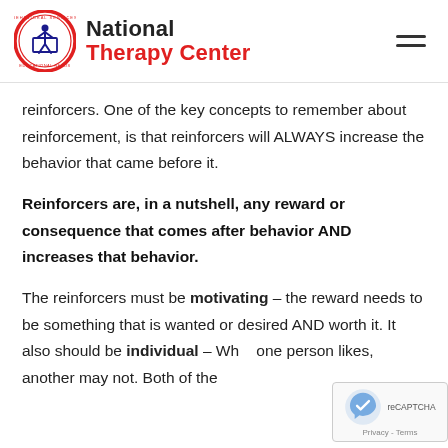National Therapy Center
reinforcers. One of the key concepts to remember about reinforcement, is that reinforcers will ALWAYS increase the behavior that came before it.
Reinforcers are, in a nutshell, any reward or consequence that comes after behavior AND increases that behavior.
The reinforcers must be motivating – the reward needs to be something that is wanted or desired AND worth it. It also should be individual – What one person likes, another may not. Both of these things matter, otherwise, no matter what you do...